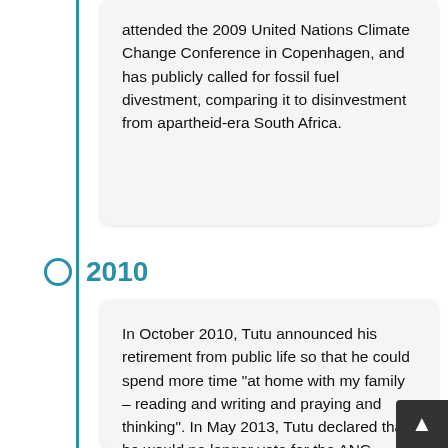attended the 2009 United Nations Climate Change Conference in Copenhagen, and has publicly called for fossil fuel divestment, comparing it to disinvestment from apartheid-era South Africa.
2010
In October 2010, Tutu announced his retirement from public life so that he could spend more time "at home with my family – reading and writing and praying and thinking". In May 2013, Tutu declared that he would no longer vote for the ANC, stating that while the party was "very good at leading us in the struggle to be free from oppression", it had done a poor job in countering inequality, violence, and corruption in South Africa. The following month, he welcomed Raphele's launch of a new party, Agang South Africa. After Mandela died in December 2013, Tutu initially stated that he had not been invited to the funeral, but the government denied this